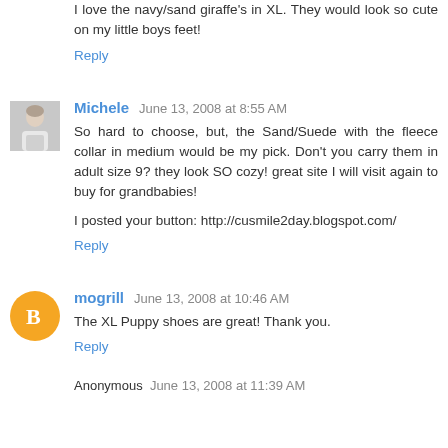I love the navy/sand giraffe's in XL. They would look so cute on my little boys feet!
Reply
Michele  June 13, 2008 at 8:55 AM
So hard to choose, but, the Sand/Suede with the fleece collar in medium would be my pick. Don't you carry them in adult size 9? they look SO cozy! great site I will visit again to buy for grandbabies!
I posted your button: http://cusmile2day.blogspot.com/
Reply
mogrill  June 13, 2008 at 10:46 AM
The XL Puppy shoes are great! Thank you.
Reply
Anonymous  June 13, 2008 at 11:39 AM